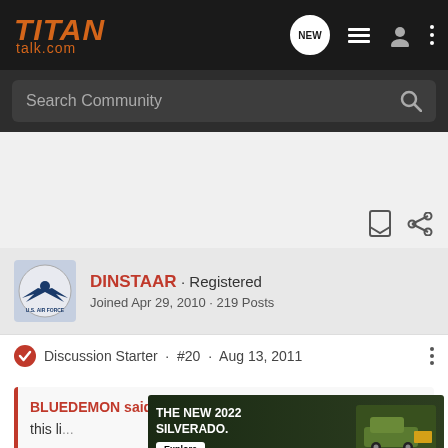TITAN talk.com
Search Community
DINSTAAR · Registered
Joined Apr 29, 2010 · 219 Posts
Discussion Starter · #20 · Aug 13, 2011
BLUEDEMON said:
this li...